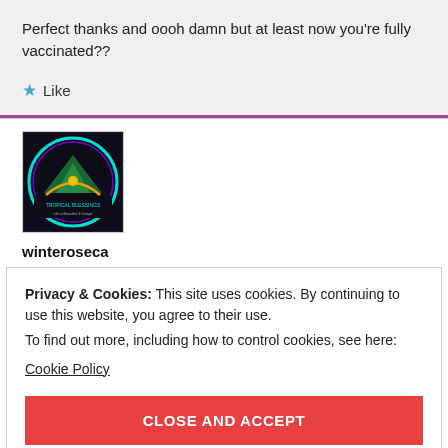Perfect thanks and oooh damn but at least now you're fully vaccinated??
★ Like
[Figure (logo): Circular logo with dark background and colorful graphic, user avatar for winteroseca]
winteroseca
Privacy & Cookies: This site uses cookies. By continuing to use this website, you agree to their use.
To find out more, including how to control cookies, see here:
Cookie Policy
CLOSE AND ACCEPT
Shopping